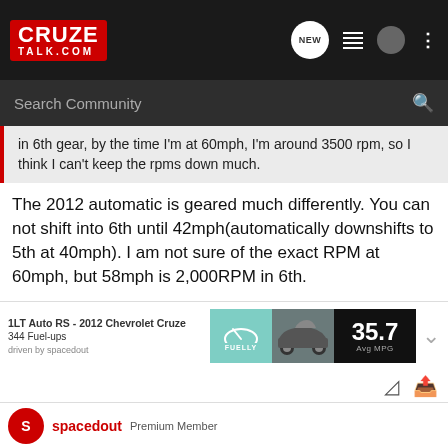CRUZE TALK.COM
in 6th gear, by the time I'm at 60mph, I'm around 3500 rpm, so I think I can't keep the rpms down much.
The 2012 automatic is geared much differently. You can not shift into 6th until 42mph(automatically downshifts to 5th at 40mph). I am not sure of the exact RPM at 60mph, but 58mph is 2,000RPM in 6th.
[Figure (infographic): Fuelly fuel-up tracker card showing: 1LT Auto RS - 2012 Chevrolet Cruze, 344 Fuel-ups, driven by spacedout, with Fuelly logo, car photo, and 35.7 Avg MPG]
spacedout  Premium Member